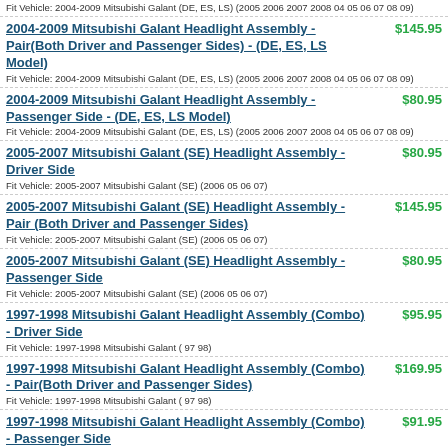Fit Vehicle: 2004-2009 Mitsubishi Galant (DE, ES, LS) (2005 2006 2007 2008 04 05 06 07 08 09)
2004-2009 Mitsubishi Galant Headlight Assembly - Pair(Both Driver and Passenger Sides) - (DE, ES, LS Model) | $145.95 | Fit Vehicle: 2004-2009 Mitsubishi Galant (DE, ES, LS) (2005 2006 2007 2008 04 05 06 07 08 09)
2004-2009 Mitsubishi Galant Headlight Assembly - Passenger Side - (DE, ES, LS Model) | $80.95 | Fit Vehicle: 2004-2009 Mitsubishi Galant (DE, ES, LS) (2005 2006 2007 2008 04 05 06 07 08 09)
2005-2007 Mitsubishi Galant (SE) Headlight Assembly - Driver Side | $80.95 | Fit Vehicle: 2005-2007 Mitsubishi Galant (SE) (2006 05 06 07)
2005-2007 Mitsubishi Galant (SE) Headlight Assembly - Pair (Both Driver and Passenger Sides) | $145.95 | Fit Vehicle: 2005-2007 Mitsubishi Galant (SE) (2006 05 06 07)
2005-2007 Mitsubishi Galant (SE) Headlight Assembly - Passenger Side | $80.95 | Fit Vehicle: 2005-2007 Mitsubishi Galant (SE) (2006 05 06 07)
1997-1998 Mitsubishi Galant Headlight Assembly (Combo) - Driver Side | $95.95 | Fit Vehicle: 1997-1998 Mitsubishi Galant ( 97 98)
1997-1998 Mitsubishi Galant Headlight Assembly (Combo) - Pair(Both Driver and Passenger Sides) | $169.95 | Fit Vehicle: 1997-1998 Mitsubishi Galant ( 97 98)
1997-1998 Mitsubishi Galant Headlight Assembly (Combo) - Passenger Side | $91.95 | Fit Vehicle: 1997-1998 Mitsubishi Galant ( 97 98)
1994-1996 Mitsubishi Galant Headlight Assembly (Combo) - Driver Side | $91.95 | Fit Vehicle: 1994-1996 Mitsubishi Galant (1995 94 95 96)